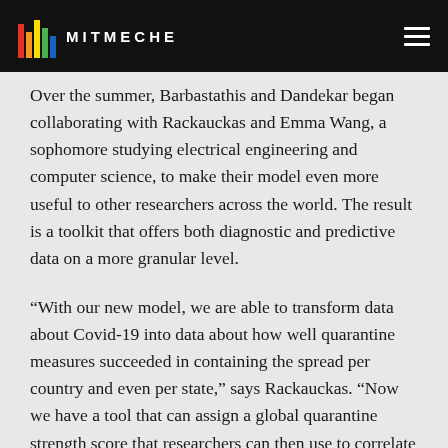MITMECHE
Over the summer, Barbastathis and Dandekar began collaborating with Rackauckas and Emma Wang, a sophomore studying electrical engineering and computer science, to make their model even more useful to other researchers across the world. The result is a toolkit that offers both diagnostic and predictive data on a more granular level.
“With our new model, we are able to transform data about Covid-19 into data about how well quarantine measures succeeded in containing the spread per country and even per state,” says Rackauckas. “Now we have a tool that can assign a global quarantine strength score that researchers can then use to correlate to all sorts of other social phenomenon.”
According to Barbastathis, the resulting model is a testament to what can be accomplished through interdisciplinary collaboration. “Our team represents four different departments